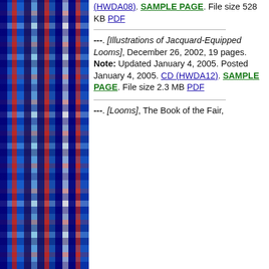[Figure (illustration): Tartan/plaid pattern in blue, red, and white running down the left side of the page]
(HWDA08). SAMPLE PAGE. File size 528 KB PDF
---. [Illustrations of Jacquard-Equipped Looms], December 26, 2002, 19 pages. Note: Updated January 4, 2005. Posted January 4, 2005. CD (HWDA12). SAMPLE PAGE. File size 2.3 MB PDF
---. [Looms], The Book of the Fair,